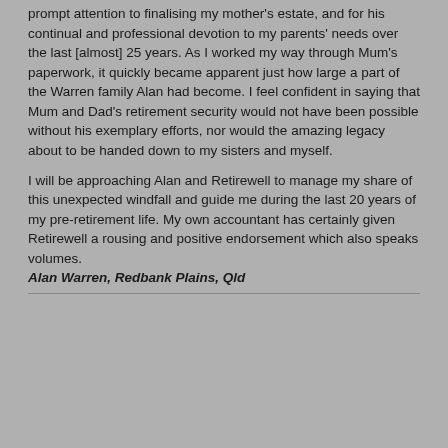prompt attention to finalising my mother's estate, and for his continual and professional devotion to my parents' needs over the last [almost] 25 years. As I worked my way through Mum's paperwork, it quickly became apparent just how large a part of the Warren family Alan had become. I feel confident in saying that Mum and Dad's retirement security would not have been possible without his exemplary efforts, nor would the amazing legacy about to be handed down to my sisters and myself.
I will be approaching Alan and Retirewell to manage my share of this unexpected windfall and guide me during the last 20 years of my pre-retirement life. My own accountant has certainly given Retirewell a rousing and positive endorsement which also speaks volumes.
Alan Warren, Redbank Plains, Qld